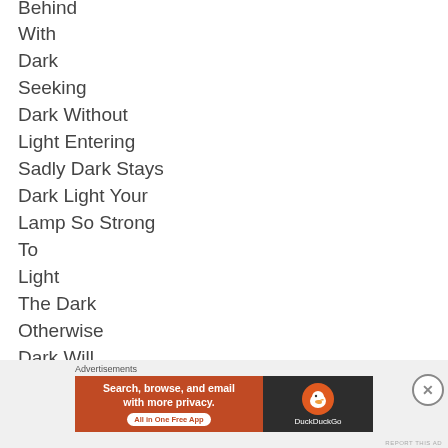Behind
With
Dark
Seeking
Dark Without
Light Entering
Sadly Dark Stays
Dark Light Your
Lamp So Strong
To
Light
The Dark
Otherwise
Dark Will
[Figure (screenshot): DuckDuckGo advertisement banner with text 'Search, browse, and email with more privacy. All in One Free App' and DuckDuckGo logo on dark background]